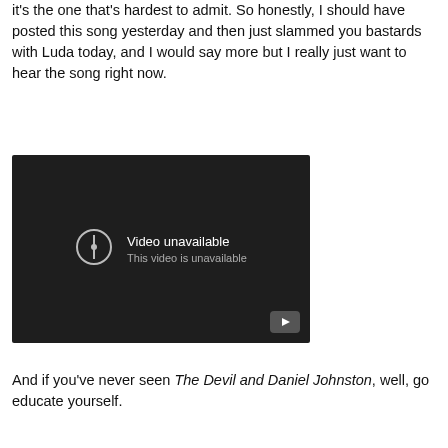it's the one that's hardest to admit. So honestly, I should have posted this song yesterday and then just slammed you bastards with Luda today, and I would say more but I really just want to hear the song right now.
[Figure (screenshot): Embedded video player showing 'Video unavailable - This video is unavailable' message on a dark background with a YouTube play button icon in the bottom right corner.]
And if you've never seen The Devil and Daniel Johnston, well, go educate yourself.